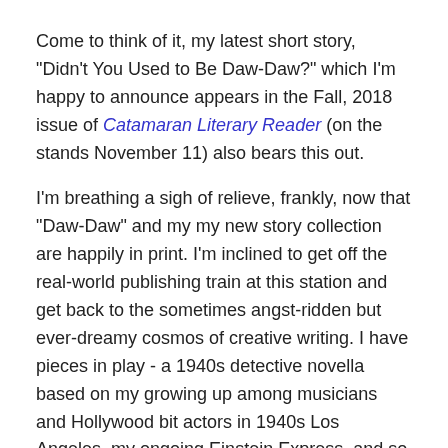Come to think of it, my latest short story, "Didn't You Used to Be Daw-Daw?" which I'm happy to announce appears in the Fall, 2018 issue of Catamaran Literary Reader (on the stands November 11) also bears this out.
I'm breathing a sigh of relieve, frankly, now that "Daw-Daw" and my my new story collection are happily in print. I'm inclined to get off the real-world publishing train at this station and get back to the sometimes angst-ridden but ever-dreamy cosmos of creative writing. I have pieces in play - a 1940s detective novella based on my growing up among musicians and Hollywood bit actors in 1940s Los Angeles, my ongoing Einstein Express, and so forth. Some of characters are fine people. A few of them are Nazis. Thanks to the Abominable Orange Man, Hair Hitler and his ilk, fascism and its rise have come back into the limelight these days; 1930s Germany has a lot to tell us in the 21st century just when we had through its authoritarian, nativist horror (like the Spanish Inquisition) had been put behind so called civilised societies.